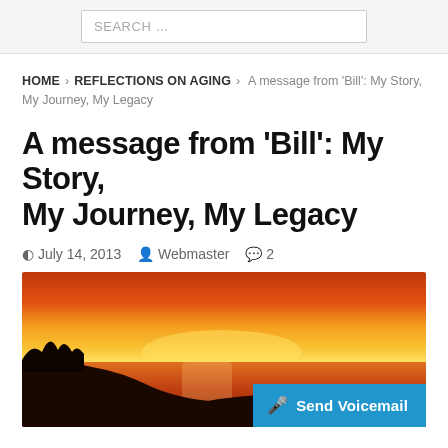SEARCH …
HOME > REFLECTIONS ON AGING > A message from 'Bill': My Story, My Journey, My Legacy
A message from 'Bill': My Story, My Journey, My Legacy
July 14, 2013   Webmaster   2
[Figure (photo): A sunset over a beach with orange and yellow sky, water reflecting the colors, dark silhouette of coastline and a lone figure standing on the shore.]